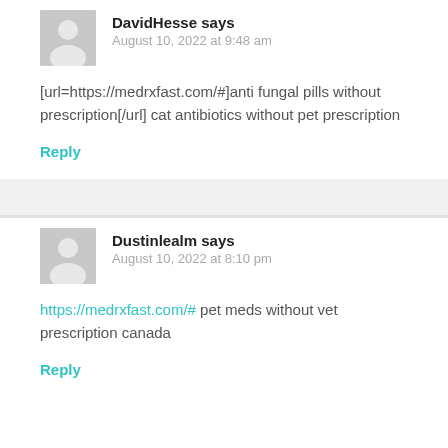DavidHesse says
August 10, 2022 at 9:48 am
[url=https://medrxfast.com/#]anti fungal pills without prescription[/url] cat antibiotics without pet prescription
Reply
Dustinlealm says
August 10, 2022 at 8:10 pm
https://medrxfast.com/# pet meds without vet prescription canada
Reply